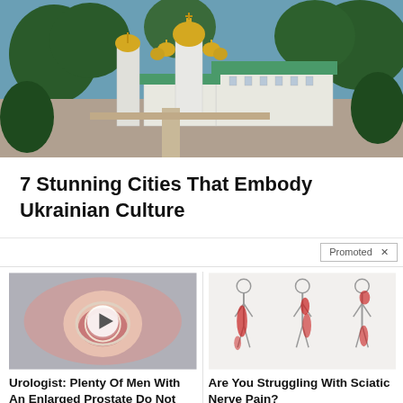[Figure (photo): Aerial view of Ukrainian city with golden-domed Orthodox church/monastery surrounded by green trees and green-roofed buildings]
7 Stunning Cities That Embody Ukrainian Culture
Promoted X
[Figure (illustration): Medical illustration of enlarged prostate with play button overlay]
Urologist: Plenty Of Men With An Enlarged Prostate Do Not Know About This Simple Solution
🔥 2,941
[Figure (illustration): Medical illustration showing body silhouettes with red highlighted areas indicating sciatic nerve pain locations]
Are You Struggling With Sciatic Nerve Pain?
🔥 3,081